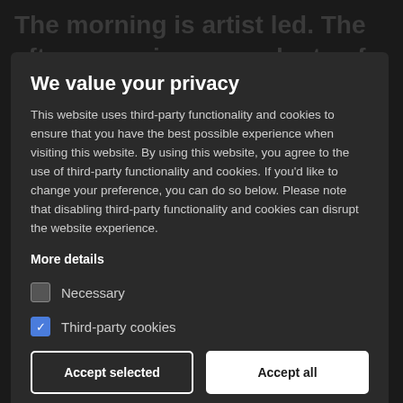[Figure (screenshot): Dark background webpage content partially visible behind the privacy modal overlay]
We value your privacy
This website uses third-party functionality and cookies to ensure that you have the best possible experience when visiting this website. By using this website, you agree to the use of third-party functionality and cookies. If you'd like to change your preference, you can do so below. Please note that disabling third-party functionality and cookies can disrupt the website experience.
More details
Necessary
Third-party cookies
Accept selected
Accept all